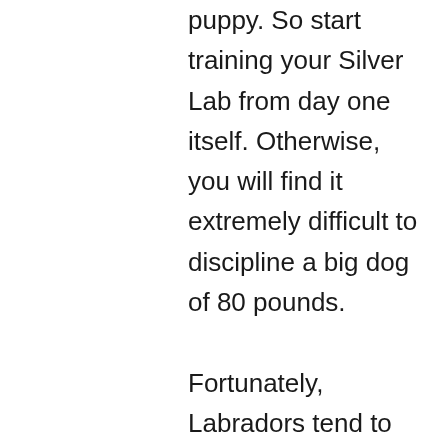puppy. So start training your Silver Lab from day one itself. Otherwise, you will find it extremely difficult to discipline a big dog of 80 pounds.
Fortunately, Labradors tend to be very eager to please breed. So, you won't have to struggle much with your Silver Labrador's training. Begin with the house training and gradually make your dog familiar with its name and the commands you intend to use to address it. Make sure that you complete your dog's obedience training